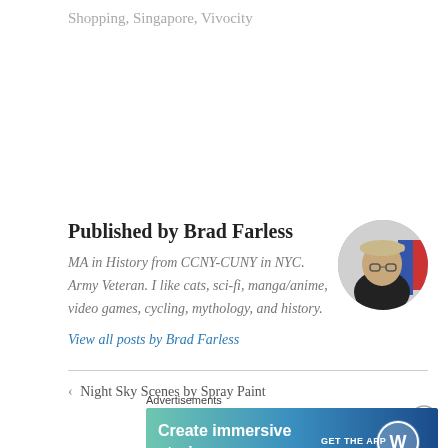Shopping,  Singapore,  Vivocity
Published by Brad Farless
MA in History from CCNY-CUNY in NYC. Army Veteran. I like cats, sci-fi, manga/anime, video games, cycling, mythology, and history.
View all posts by Brad Farless
[Figure (photo): Circular profile photo of Brad Farless wearing a cap and glasses, black jacket, with blue and red colors in background]
< Night Sky Scenes by Spray Paint
Sentosa's Underwater World >
Advertisements
[Figure (infographic): WordPress advertisement banner: 'Create immersive stories. GET THE APP' with WordPress logo on blue-green gradient background]